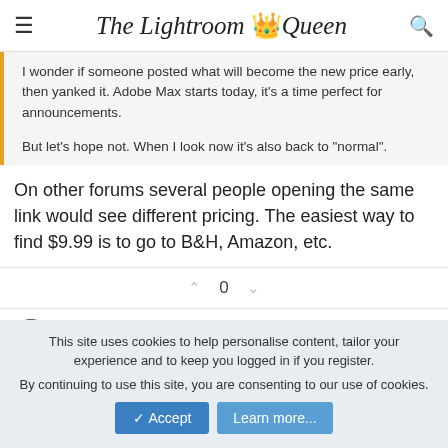The Lightroom Queen
I wonder if someone posted what will become the new price early, then yanked it. Adobe Max starts today, it's a time perfect for announcements.

But let's hope not. When I look now it's also back to "normal".
On other forums several people opening the same link would see different pricing. The easiest way to find $9.99 is to go to B&H, Amazon, etc.
0
This site uses cookies to help personalise content, tailor your experience and to keep you logged in if you register.
By continuing to use this site, you are consenting to our use of cookies.